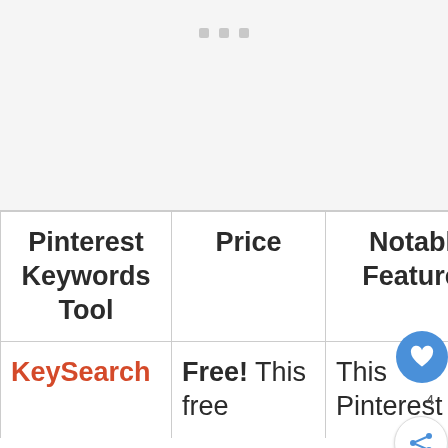[Figure (other): Ad placeholder area with three small gray dots/squares at top, light gray background]
| Pinterest Keywords Tool | Price | Notable Features |
| --- | --- | --- |
| KeySearch | Free! This free | This Pinterest |